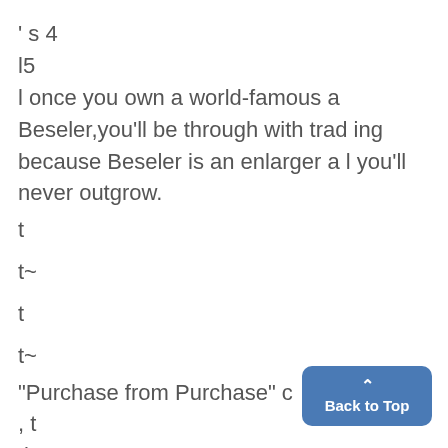' s 4
l5
l once you own a world-famous a Beseler,you'll be through with trading because Beseler is an enlarger al you'll never outgrow.
t
t~
t
t~
"Purchase from Purchase" c
, t
.l. "
l nEbr5#